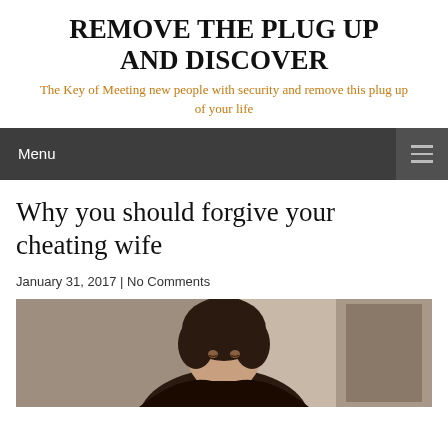REMOVE THE PLUG UP AND DISCOVER
The Key of Meeting new people with security and remove this plug up of your life
Menu
Why you should forgive your cheating wife
January 31, 2017 | No Comments
[Figure (photo): A woman with dark curly hair looking down, photographed indoors]